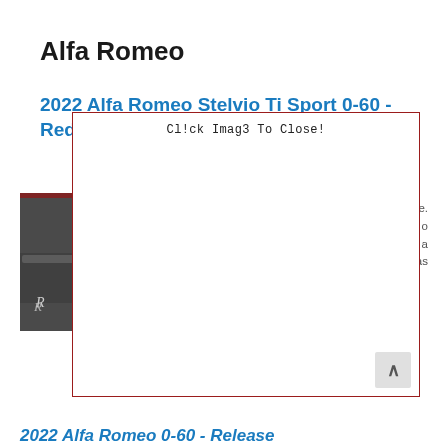Alfa Romeo
2022 Alfa Romeo Stelvio Ti Sport 0-60 - Redesign
[Figure (photo): Photo of a car, partially visible on the left side, obscured by a modal dialog overlay]
Cl!ck Imag3 To Close!
there ... g care of, an... Quad... good... straig...
2022 Alfa Romeo 0-60 - Release